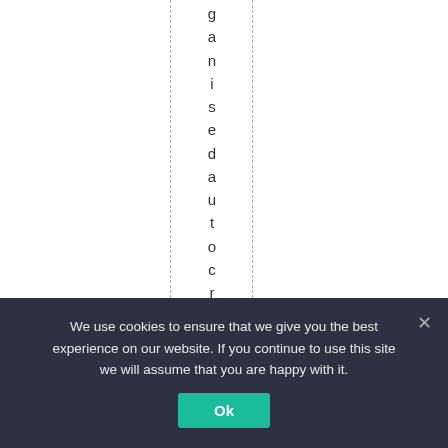ganisedautocratswi
We use cookies to ensure that we give you the best experience on our website. If you continue to use this site we will assume that you are happy with it.